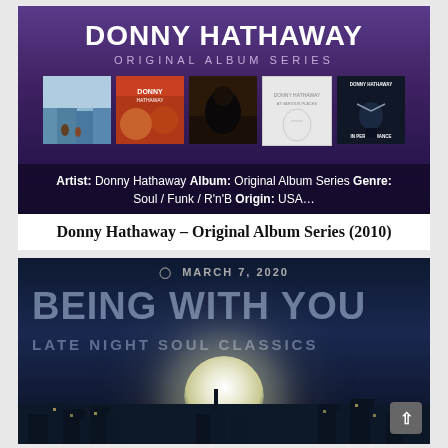[Figure (photo): Donny Hathaway - Original Album Series album art on purple background showing artist name, subtitle 'Original Album Series', and five mini album covers]
Artist: Donny Hathaway Album: Original Album Series Genre: Soul / Funk / R'n'B Origin: USA...
Donny Hathaway – Original Album Series (2010)
[Figure (photo): Being With You - Late Night Soul Classics album art showing large white text on dark blue night sky background with city silhouette and bright full moon. Date shown: March 7, 2020]